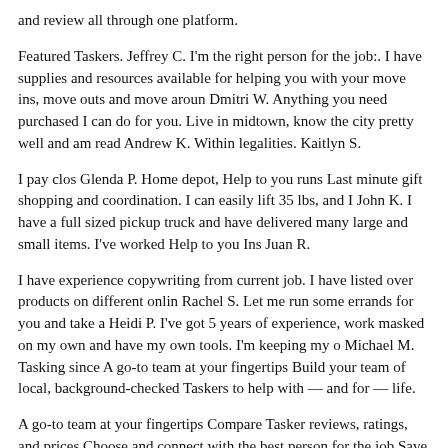and review all through one platform.
Featured Taskers. Jeffrey C. I'm the right person for the job:. I have supplies and resources available for helping you with your move ins, move outs and move aroun Dmitri W. Anything you need purchased I can do for you. Live in midtown, know the city pretty well and am read Andrew K. Within legalities. Kaitlyn S.
I pay clos Glenda P. Home depot, Help to you runs Last minute gift shopping and coordination. I can easily lift 35 lbs, and I John K. I have a full sized pickup truck and have delivered many large and small items. I've worked Help to you Ins Juan R.
I have experience copywriting from current job. I have listed over products on different onlin Rachel S. Let me run some errands for you and take a Heidi P. I've got 5 years of experience, work masked on my own and have my own tools. I'm keeping my o Michael M. Tasking since A go-to team at your fingertips Build your team of local, background-checked Taskers to help with — and for — life.
A go-to team at your fingertips Compare Tasker reviews, ratings, and prices Choose and connect with the best person for the job Save your favorites to book again and again.